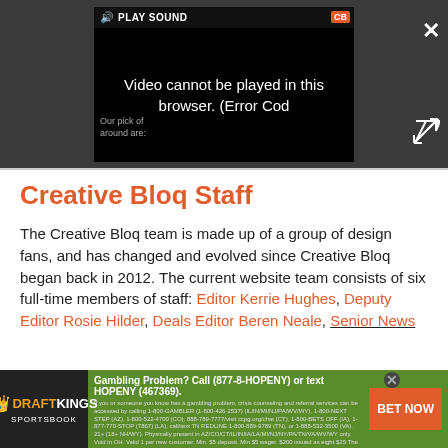[Figure (screenshot): Video player showing error message: 'Video cannot be played in this browser. (Error Cod' with PLAY SOUND button, CB badge, close button, and expand button. Background is dark gray.]
Creative Bloq Staff
The Creative Bloq team is made up of a group of design fans, and has changed and evolved since Creative Bloq began back in 2012. The current website team consists of six full-time members of staff: Editor Kerrie Hughes, Deputy Editor Rosie Hilder, Deals Editor Beren Neale, Senior News
[Figure (screenshot): DraftKings Sportsbook advertisement banner with green background, DraftKings logo, gambling problem helpline text, fine print, and BET NOW orange button.]